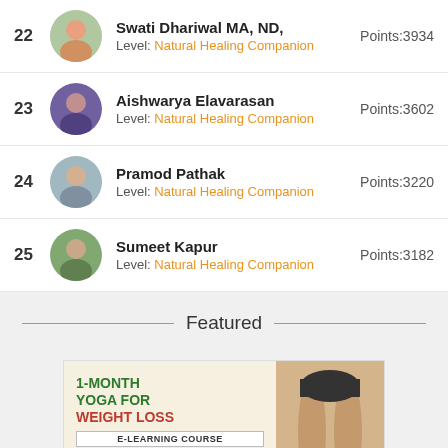22 Swati Dhariwal MA, ND, Level: Natural Healing Companion Points:3934
23 Aishwarya Elavarasan Level: Natural Healing Companion Points:3602
24 Pramod Pathak Level: Natural Healing Companion Points:3220
25 Sumeet Kapur Level: Natural Healing Companion Points:3182
Featured
[Figure (illustration): 1-Month Yoga for Weight Loss e-learning course banner with green and red text on cream background, with an image of legs in yoga pose on the right side]